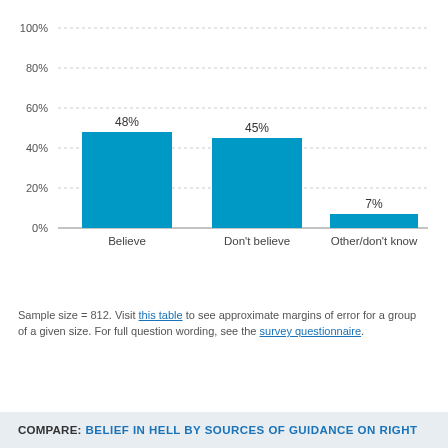[Figure (bar-chart): ]
Sample size = 812. Visit this table to see approximate margins of error for a group of a given size. For full question wording, see the survey questionnaire.
COMPARE: BELIEF IN HELL BY SOURCES OF GUIDANCE ON RIGHT